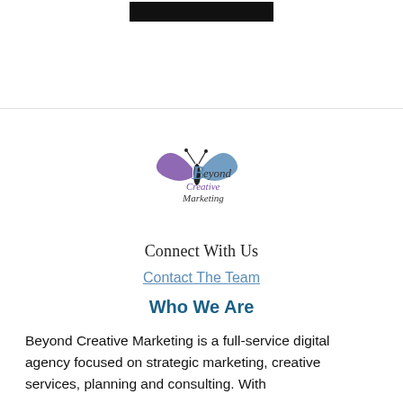[Figure (other): Black rectangular bar at top center of page, partial header image]
[Figure (logo): Beyond Creative Marketing logo — stylized butterfly with script text reading 'Beyond Creative Marketing']
Connect With Us
Contact The Team
Who We Are
Beyond Creative Marketing is a full-service digital agency focused on strategic marketing, creative services, planning and consulting. With